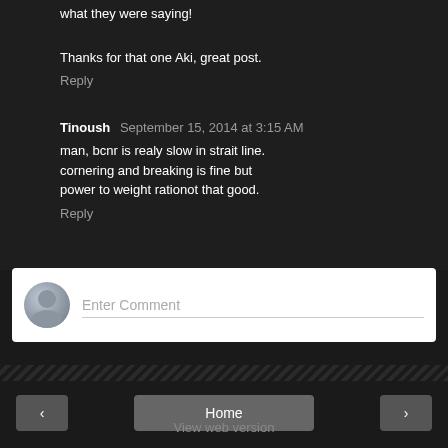what they were saying!
Thanks for that one Aki, great post.
Reply
Tinoush  September 15, 2014 at 3:15 AM
man, bcnr is realy slow in strait line. cornering and breaking is fine but power to weight rationot that good.
Reply
[Figure (other): Comment input box with avatar and 'Enter Comment' placeholder text]
< Home > View web version